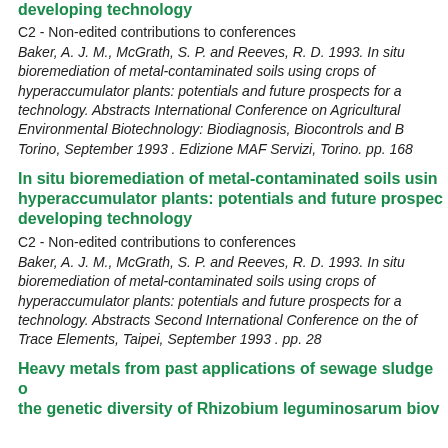developing technology
C2 - Non-edited contributions to conferences
Baker, A. J. M., McGrath, S. P. and Reeves, R. D. 1993. In situ bioremediation of metal-contaminated soils using crops of hyperaccumulator plants: potentials and future prospects for a technology. Abstracts International Conference on Agricultural Environmental Biotechnology: Biodiagnosis, Biocontrols and B Torino, September 1993 . Edizione MAF Servizi, Torino. pp. 168
In situ bioremediation of metal-contaminated soils using hyperaccumulator plants: potentials and future prospects for a developing technology
C2 - Non-edited contributions to conferences
Baker, A. J. M., McGrath, S. P. and Reeves, R. D. 1993. In situ bioremediation of metal-contaminated soils using crops of hyperaccumulator plants: potentials and future prospects for a technology. Abstracts Second International Conference on the of Trace Elements, Taipei, September 1993 . pp. 28
Heavy metals from past applications of sewage sludge on the genetic diversity of Rhizobium leguminosarum biov